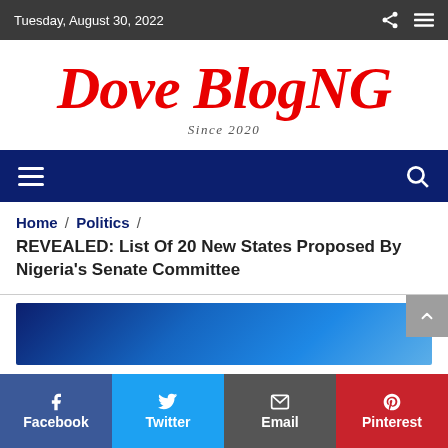Tuesday, August 30, 2022
Dove BlogNG
Since 2020
Home / Politics / REVEALED: List Of 20 New States Proposed By Nigeria's Senate Committee
[Figure (screenshot): Article featured image preview with blue gradient background]
Facebook  Twitter  Email  Pinterest